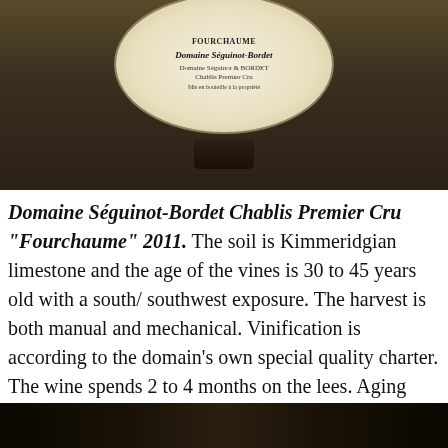[Figure (photo): Close-up photo of a wine bottle label showing 'Domaine Séguinot-Bordet' and 'Fourchaume' text on a rounded white label against a dark background]
Domaine Séguinot-Bordet Chablis Premier Cru "Fourchaume" 2011. The soil is Kimmeridgian limestone and the age of the vines is 30 to 45 years old with a south/ southwest exposure. The harvest is both manual and mechanical. Vinification is according to the domain's own special quality charter. The wine spends 2 to 4 months on the lees. Aging takes place in temperature controlled stainless steel tanks. $29
[Figure (photo): Bottom portion of another photo, dark background, partial view of wine bottles or setting]